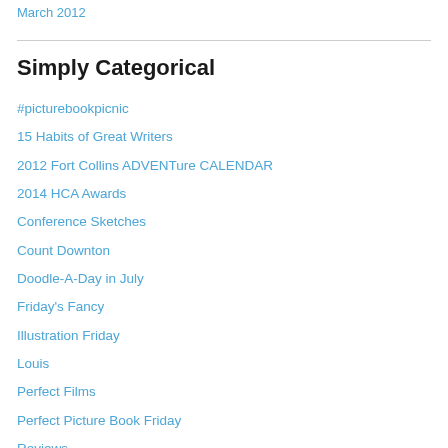March 2012
Simply Categorical
#picturebookpicnic
15 Habits of Great Writers
2012 Fort Collins ADVENTure CALENDAR
2014 HCA Awards
Conference Sketches
Count Downton
Doodle-A-Day in July
Friday's Fancy
Illustration Friday
Louis
Perfect Films
Perfect Picture Book Friday
Reviews
Scbwi Draw This!
Sir PBJ